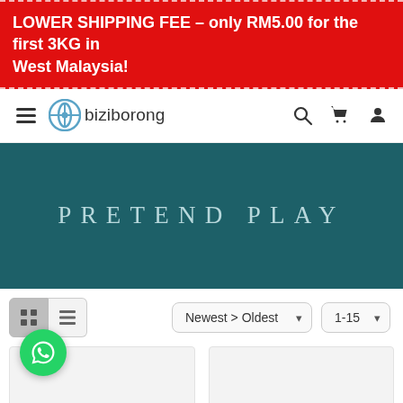LOWER SHIPPING FEE – only RM5.00 for the first 3KG in West Malaysia!
[Figure (logo): biziborong logo with navigation icons (hamburger menu, search, cart, account)]
PRETEND PLAY
Newest > Oldest | 1-15 sort and per-page selectors with grid/list view toggles